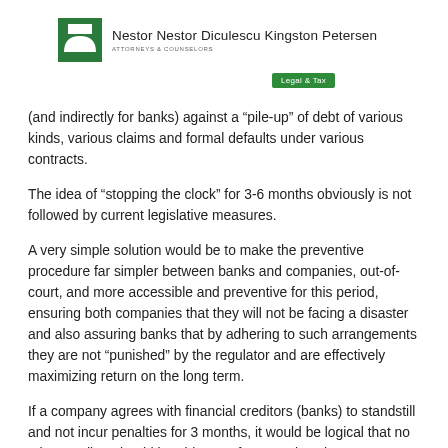[Figure (logo): Nestor Nestor Diculescu Kingston Petersen law firm logo with green square icon and arch shape, firm name, and 'ATTORNEYS & COUNSELORS' subtitle, with 'Legal & Tax' green badge]
(and indirectly for banks) against a “pile-up” of debt of various kinds, various claims and formal defaults under various contracts.
The idea of “stopping the clock” for 3-6 months obviously is not followed by current legislative measures.
A very simple solution would be to make the preventive procedure far simpler between banks and companies, out-of-court, and more accessible and preventive for this period, ensuring both companies that they will not be facing a disaster and also assuring banks that by adhering to such arrangements they are not “punished” by the regulator and are effectively maximizing return on the long term.
If a company agrees with financial creditors (banks) to standstill and not incur penalties for 3 months, it would be logical that no other creditor should be able to enforce against that company or